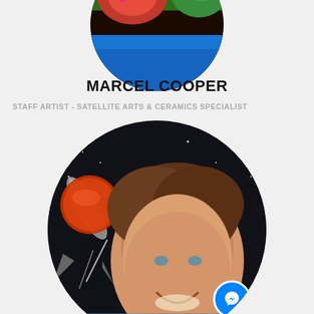[Figure (photo): Circular cropped colorful artwork visible at top of page - partial circle showing vibrant illustrated artwork]
MARCEL COOPER
STAFF ARTIST - SATELLITE ARTS & CERAMICS SPECIALIST
[Figure (photo): Large circular portrait photo of a young man with brown hair smiling, with a space/astronaut mural painting visible in the background. A Facebook Messenger icon button is overlaid in the bottom right of the circle.]